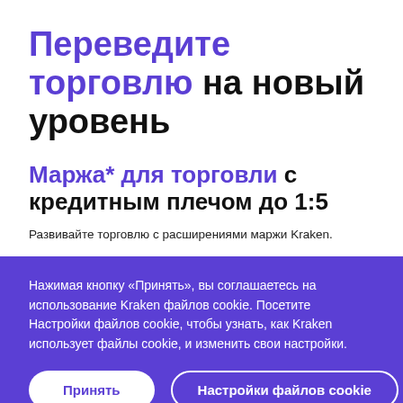Переведите торговлю на новый уровень
Маржа* для торговли с кредитным плечом до 1:5
Развивайте торговлю с расширениями маржи Kraken.
Нажимая кнопку «Принять», вы соглашаетесь на использование Kraken файлов cookie. Посетите Настройки файлов cookie, чтобы узнать, как Kraken использует файлы cookie, и изменить свои настройки.
Принять
Настройки файлов cookie